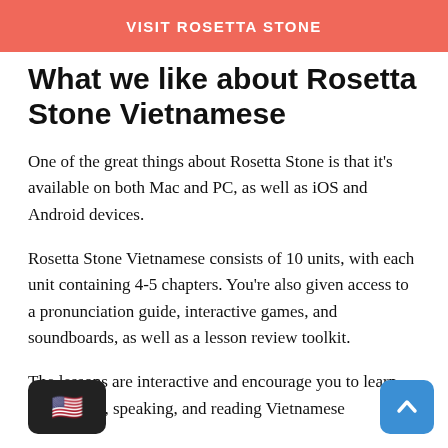VISIT ROSETTA STONE
What we like about Rosetta Stone Vietnamese
One of the great things about Rosetta Stone is that it's available on both Mac and PC, as well as iOS and Android devices.
Rosetta Stone Vietnamese consists of 10 units, with each unit containing 4-5 chapters. You're also given access to a pronunciation guide, interactive games, and soundboards, as well as a lesson review toolkit.
The lessons are interactive and encourage you to learn through listening, speaking, and reading Vietnamese...